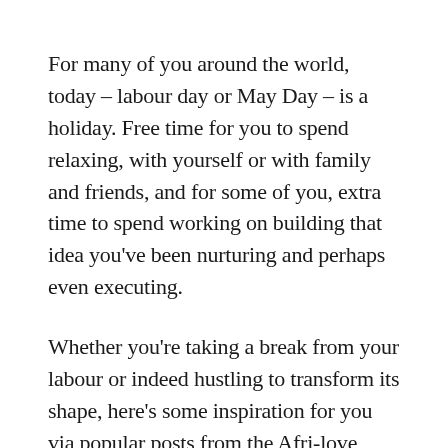For many of you around the world, today – labour day or May Day – is a holiday. Free time for you to spend relaxing, with yourself or with family and friends, and for some of you, extra time to spend working on building that idea you've been nurturing and perhaps even executing.
Whether you're taking a break from your labour or indeed hustling to transform its shape, here's some inspiration for you via popular posts from the Afri-love archives.